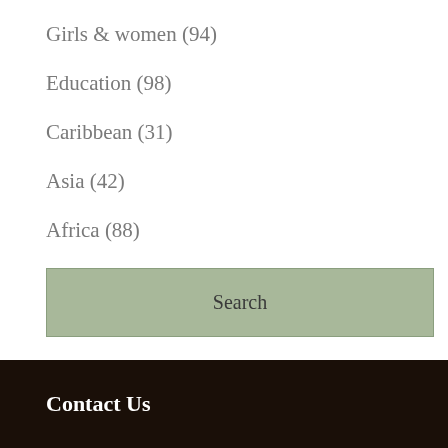Girls & women (94)
Education (98)
Caribbean (31)
Asia (42)
Africa (88)
About us (72)
Search
Contact Us